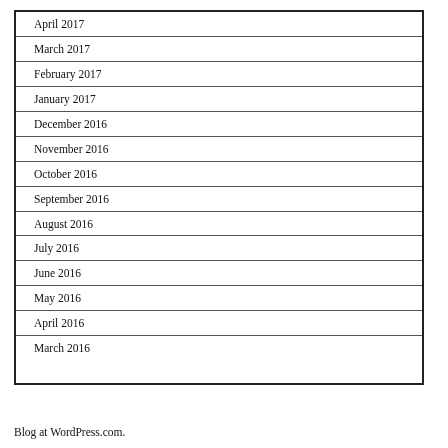April 2017
March 2017
February 2017
January 2017
December 2016
November 2016
October 2016
September 2016
August 2016
July 2016
June 2016
May 2016
April 2016
March 2016
Blog at WordPress.com.